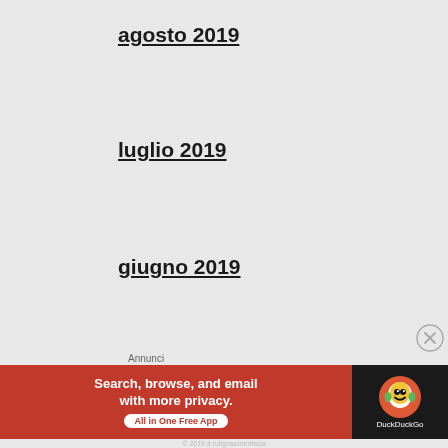agosto 2019
luglio 2019
giugno 2019
Maggio 2019
aprile 2019
marzo 2019
febbraio 2019
gennaio 2019
[Figure (infographic): DuckDuckGo advertisement banner: 'Search, browse, and email with more privacy. All in One Free App' with DuckDuckGo logo on dark background]